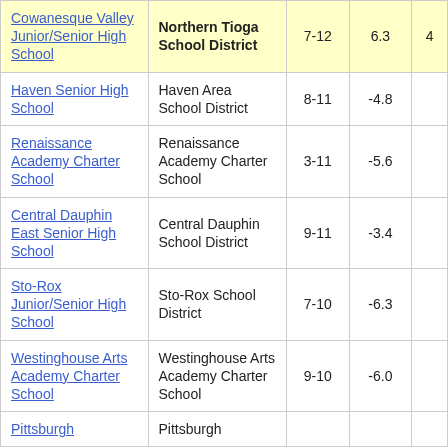| School | District | Grades | Score |  |
| --- | --- | --- | --- | --- |
| Cowanesque Valley Junior/Senior High School | Northern Tioga School District | 7-12 | 6.3 | 4 |
| Haven Senior High School | Haven Area School District | 8-11 | -4.8 |  |
| Renaissance Academy Charter School | Renaissance Academy Charter School | 3-11 | -5.6 |  |
| Central Dauphin East Senior High School | Central Dauphin School District | 9-11 | -3.4 |  |
| Sto-Rox Junior/Senior High School | Sto-Rox School District | 7-10 | -6.3 |  |
| Westinghouse Arts Academy Charter School | Westinghouse Arts Academy Charter School | 9-10 | -6.0 |  |
| Pittsburgh | Pittsburgh |  |  |  |